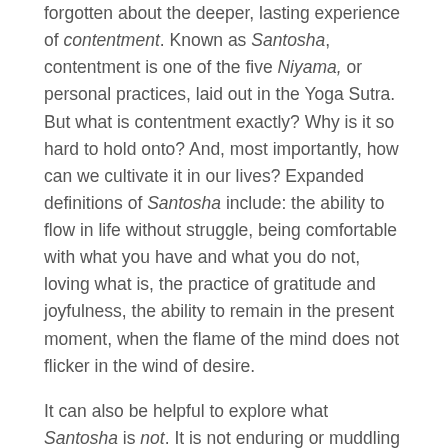forgotten about the deeper, lasting experience of contentment. Known as Santosha, contentment is one of the five Niyama, or personal practices, laid out in the Yoga Sutra. But what is contentment exactly? Why is it so hard to hold onto? And, most importantly, how can we cultivate it in our lives? Expanded definitions of Santosha include: the ability to flow in life without struggle, being comfortable with what you have and what you do not, loving what is, the practice of gratitude and joyfulness, the ability to remain in the present moment, when the flame of the mind does not flicker in the wind of desire.
It can also be helpful to explore what Santosha is not. It is not enduring or muddling through. It is not resignation or apathy. It is not something that happens to us, but rather a choice,